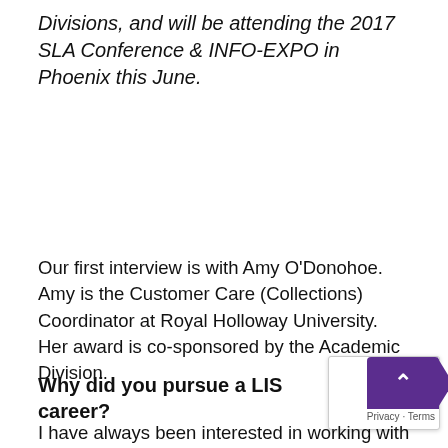Divisions, and will be attending the 2017 SLA Conference & INFO-EXPO in Phoenix this June.
Our first interview is with Amy O'Donohoe. Amy is the Customer Care (Collections) Coordinator at Royal Holloway University. Her award is co-sponsored by the Academic Division.
Why did you pursue a LIS career?
I have always been interested in working with